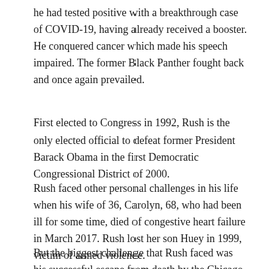he had tested positive with a breakthrough case of COVID-19, having already received a booster. He conquered cancer which made his speech impaired. The former Black Panther fought back and once again prevailed.
First elected to Congress in 1992, Rush is the only elected official to defeat former President Barack Obama in the first Democratic Congressional District of 2000.
Rush faced other personal challenges in his life when his wife of 36, Carolyn, 68, who had been ill for some time, died of congestive heart failure in March 2017. Rush lost her son Huey in 1999, victim of armed violence.
But the biggest challenge that Rush faced was his successful escape from death by the Chicago Police